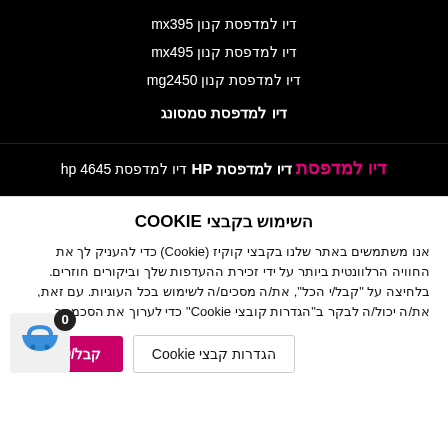דיו למדפסת קנון mx395
דיו למדפסת קנון mx495
דיו למדפסת קנון mg2450
דיו למדפסת סמסונג
דיו למדפסת
דיו למדפסת HP
דיו למדפסת hp 4645
השימוש בקבצי COOKIE
אנו משתמשים באתר שלנו בקבצי קוקיז (Cookie) כדי להעניק לך את החוויה הרלוונטית ביותר על ידי זכירת ההעדפות שלך וביקורים חוזרים. בלחיצה על "קבל/י הכל", את/ה מסכים/ה לשימוש בכל העוגיות. עם זאת, את/ה יכול/ה לבקר ב"הגדרות קובצי Cookie" כדי לערוך את הסכמתך.
הגדרות קבצי Cookie
קבל/י הכל